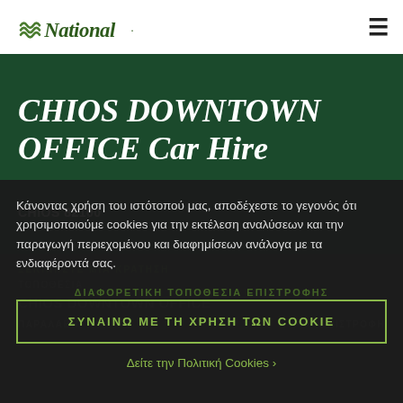National Car Hire — navigation bar with logo and hamburger menu
CHIOS DOWNTOWN OFFICE Car Hire
CHIOS 82100
Κάνοντας χρήση του ιστότοπού μας, αποδέχεστε το γεγονός ότι χρησιμοποιούμε cookies για την εκτέλεση αναλύσεων και την παραγωγή περιεχομένου και διαφημίσεων ανάλογα με τα ενδιαφέροντά σας.
ΣΥΝΑΙΝΩ ΜΕ ΤΗ ΧΡΗΣΗ ΤΩΝ COOKIE
Δείτε την Πολιτική Cookies ›